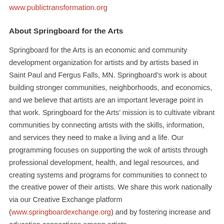www.publictransformation.org
About Springboard for the Arts
Springboard for the Arts is an economic and community development organization for artists and by artists based in Saint Paul and Fergus Falls, MN. Springboard’s work is about building stronger communities, neighborhoods, and economics, and we believe that artists are an important leverage point in that work. Springboard for the Arts’ mission is to cultivate vibrant communities by connecting artists with the skills, information, and services they need to make a living and a life. Our programming focuses on supporting the wok of artists through professional development, health, and legal resources, and creating systems and programs for communities to connect to the creative power of their artists. We share this work nationally via our Creative Exchange platform (www.springboardexchange.org) and by fostering increase and education connections among artists.